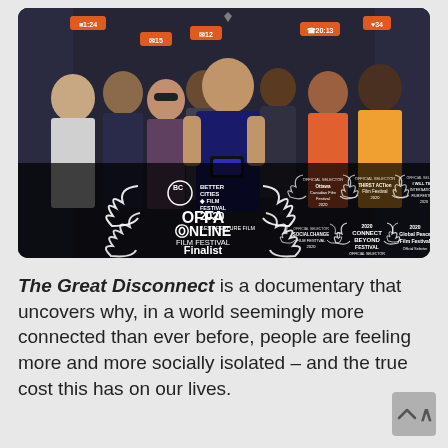[Figure (photo): Movie poster for 'The Great Disconnect' documentary showing a man looking at his phone surrounded by people in an elevator, with multiple film festival award laurels including Better Cities Film Festival 2020 Best Feature Film, OFFA Online Film Festival Finalist, Ottawa Canadian Film Festival, THIRST ACTion Film Festival, I Will Tell International Film Festival, Social Change Film Festival, 2020 Connect Beyond Festival, and 2030 Global Peace Film Festival. Social media notification badges visible at top.]
The Great Disconnect is a documentary that uncovers why, in a world seemingly more connected than ever before, people are feeling more and more socially isolated – and the true cost this has on our lives.